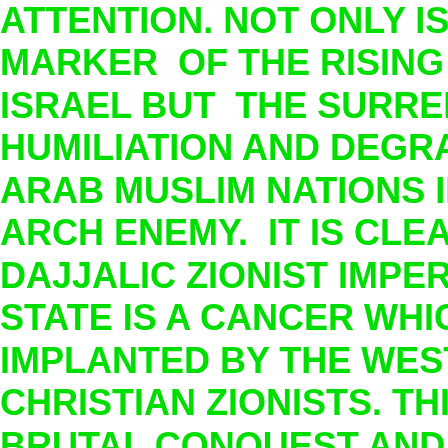ATTENTION. NOT ONLY IS THIS AN MARKER OF THE RISING POWER OF ISRAEL BUT THE SURRENDER, SUBMISSION HUMILIATION AND DEGRADATION OF ARAB MUSLIM NATIONS IN FRONT OF ARCH ENEMY. IT IS CLEAR THAT THE DAJJALIC ZIONIST IMPERIALIST AND STATE IS A CANCER WHICH HAS BEEN IMPLANTED BY THE WEST AND SUPPORTED BY CHRISTIAN ZIONISTS. THIS BRUTAL CONQUEST AND COLONIAL PROJECT NOW CROWNED WITH NOTHING LESS THAN ARAB CAPITULATION. HOWEVER IT HAS OPENED UP ANOTHER NEW CHAPTER IN ISLAMIC HISTORY WHEN NON ARAB WILL LEAD ISLAM BACK TO VICTORY NO MATTER WHAT THE ENEMIES CONSPIRE.